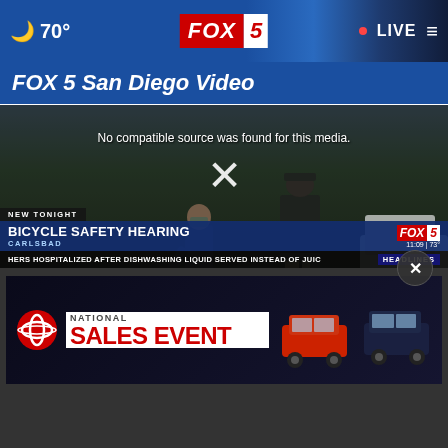🌙 70° | FOX 5 | LIVE
FOX 5 San Diego Video
[Figure (screenshot): Video player showing police officers at a scene at night. Message reads 'No compatible source was found for this media.' with an X close button. Lower third shows 'NEW TONIGHT' / 'BICYCLE SAFETY HEARING' / 'CARLSBAD' with FOX 5 logo, time 11:09, temp 73°. Ticker: 'HERS HOSPITALIZED AFTER DISHWASHING LIQUID SERVED INSTEAD OF JUIC' | HEADLINES]
[Figure (photo): Toyota National Sales Event advertisement banner showing two Toyota SUVs (red and blue/dark) with Toyota logo and text 'NATIONAL SALES EVENT']